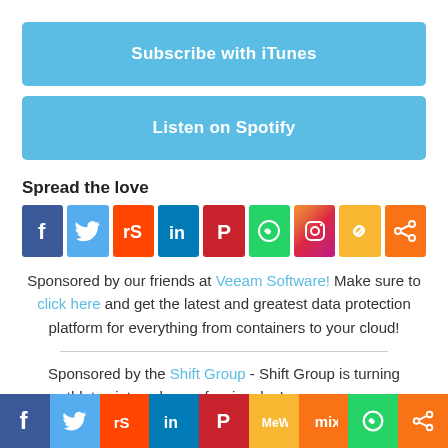Subscribe with iTunes
Listen on Spotify
Spread the love
[Figure (infographic): Row of 9 social media share icons: Facebook, Twitter, Reddit, LinkedIn, Pinterest, WhatsApp, Instagram, Copy link, Share]
Sponsored by our friends at Veeam Software! Make sure to click here and get the latest and greatest data protection platform for everything from containers to your cloud!
Sponsored by the Shift Group - Shift Group is turning athletes into sales professionals. Is your company
[Figure (infographic): Bottom sticky social sharing bar with icons: Facebook, Twitter, Reddit, LinkedIn, Pinterest, MeWe, Mix, WhatsApp, Share]